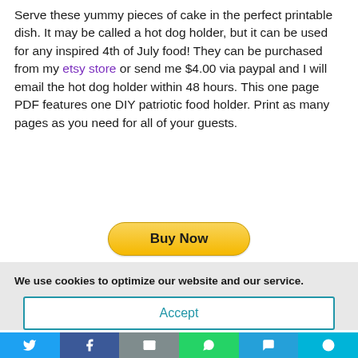Serve these yummy pieces of cake in the perfect printable dish. It may be called a hot dog holder, but it can be used for any inspired 4th of July food! They can be purchased from my etsy store or send me $4.00 via paypal and I will email the hot dog holder within 48 hours. This one page PDF features one DIY patriotic food holder. Print as many pages as you need for all of your guests.
[Figure (other): Buy Now PayPal button]
We use cookies to optimize our website and our service.
Accept
[Figure (other): Social share bar with Twitter, Facebook, Email, WhatsApp, SMS, and More buttons]